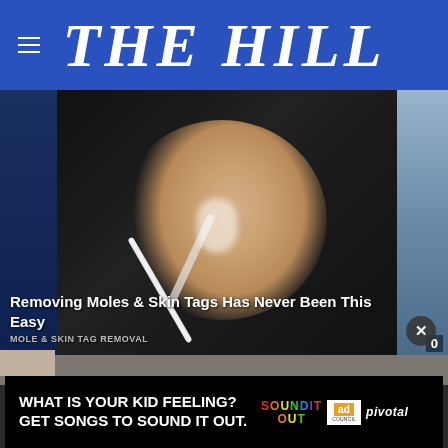THE HILL
[Figure (screenshot): Screenshot of The Hill website showing a video of a woman applying something to her nose with a brush, with an advertisement overlay at the bottom reading 'WHAT IS YOUR KID FEELING? GET SONGS TO SOUND IT OUT.' with Sound It Out, Ad Council, and Pivotal logos]
Removing Moles & Skin Tags Has Never Been This Easy
MOLE & SKIN TAG REMOVAL
WHAT IS YOUR KID FEELING? GET SONGS TO SOUND IT OUT.